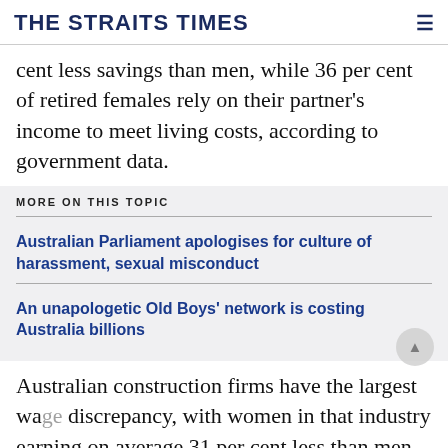THE STRAITS TIMES
cent less savings than men, while 36 per cent of retired females rely on their partner's income to meet living costs, according to government data.
MORE ON THIS TOPIC
Australian Parliament apologises for culture of harassment, sexual misconduct
An unapologetic Old Boys' network is costing Australia billions
Australian construction firms have the largest wage discrepancy, with women in that industry earning on average 31 per cent less than men. The financial